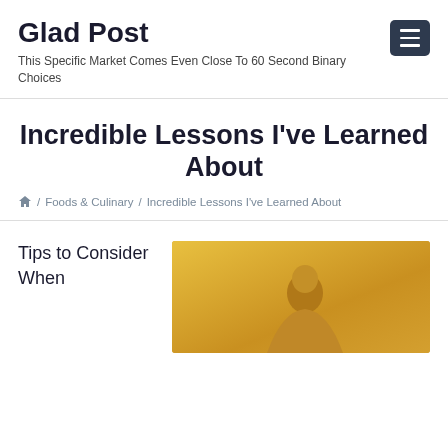Glad Post
This Specific Market Comes Even Close To 60 Second Binary Choices
Incredible Lessons I've Learned About
⌂ / Foods & Culinary / Incredible Lessons I've Learned About
Tips to Consider When
[Figure (photo): Photo of a person against a warm golden/yellow background, cropped showing upper body]